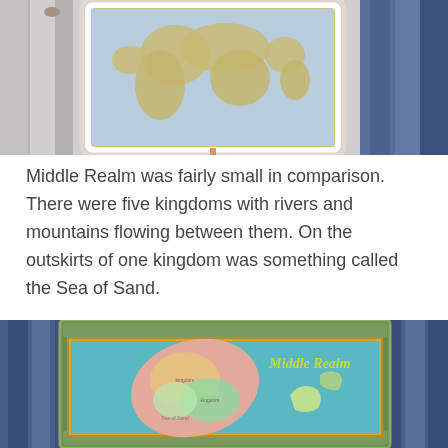[Figure (illustration): A framed world map illustration hanging on a striped gray wall with blue curtain on the right side, shown from below cropped at top.]
Middle Realm was fairly small in comparison. There were five kingdoms with rivers and mountains flowing between them. On the outskirts of one kingdom was something called the Sea of Sand.
[Figure (illustration): A framed map labeled 'Middle Realm' showing colored kingdoms on a teal background, displayed on a wall with blue curtains on the sides.]